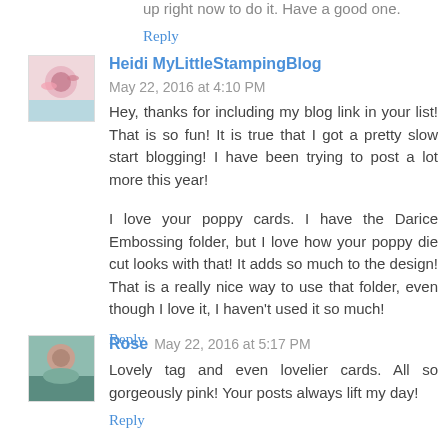up right now to do it. Have a good one.
Reply
Heidi MyLittleStampingBlog  May 22, 2016 at 4:10 PM
Hey, thanks for including my blog link in your list! That is so fun! It is true that I got a pretty slow start blogging! I have been trying to post a lot more this year!
I love your poppy cards. I have the Darice Embossing folder, but I love how your poppy die cut looks with that! It adds so much to the design! That is a really nice way to use that folder, even though I love it, I haven't used it so much!
Reply
Rose  May 22, 2016 at 5:17 PM
Lovely tag and even lovelier cards. All so gorgeously pink! Your posts always lift my day!
Reply